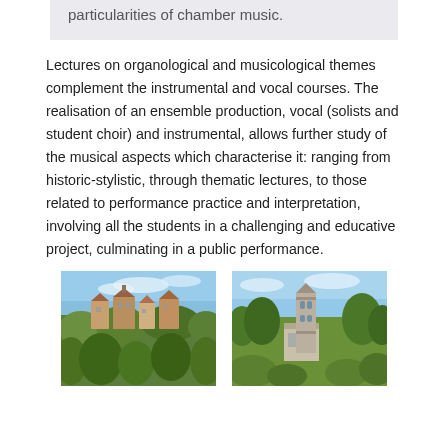particularities of chamber music.
Lectures on organological and musicological themes complement the instrumental and vocal courses. The realisation of an ensemble production, vocal (solists and student choir) and instrumental, allows further study of the musical aspects which characterise it: ranging from historic-stylistic, through thematic lectures, to those related to performance practice and interpretation, involving all the students in a challenging and educative project, culminating in a public performance.
[Figure (photo): Outdoor photograph of a hillside village with terracotta-roofed buildings and lush green vegetation under a blue sky]
[Figure (photo): Outdoor photograph of a stone Romanesque bell tower and church building surrounded by green trees under a blue sky]